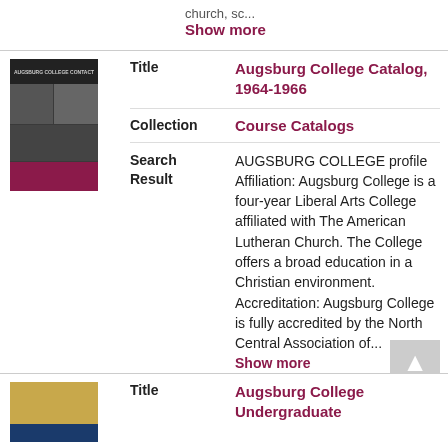church, sc...
Show more
| Field | Value |
| --- | --- |
| Title | Augsburg College Catalog, 1964-1966 |
| Collection | Course Catalogs |
| Search Result | AUGSBURG COLLEGE profile Affiliation: Augsburg College is a four-year Liberal Arts College affiliated with The American Lutheran Church. The College offers a broad education in a Christian environment. Accreditation: Augsburg College is fully accredited by the North Central Association of... |
Show more
| Field | Value |
| --- | --- |
| Title | Augsburg College Undergraduate |